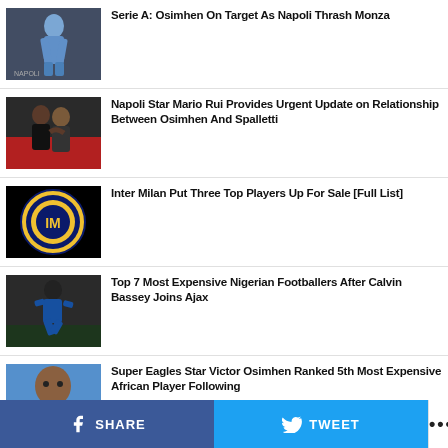Serie A: Osimhen On Target As Napoli Thrash Monza
Napoli Star Mario Rui Provides Urgent Update on Relationship Between Osimhen And Spalletti
Inter Milan Put Three Top Players Up For Sale [Full List]
Top 7 Most Expensive Nigerian Footballers After Calvin Bassey Joins Ajax
Super Eagles Star Victor Osimhen Ranked 5th Most Expensive African Player Following
SHARE   TWEET   ...